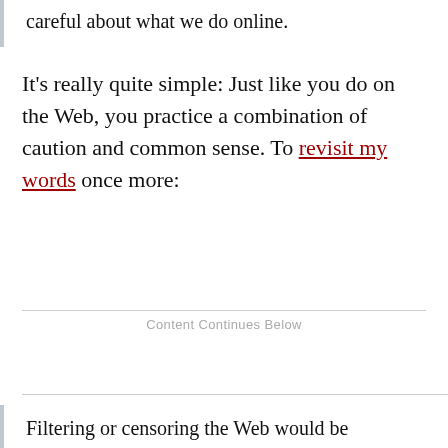careful about what we do online.
It's really quite simple: Just like you do on the Web, you practice a combination of caution and common sense. To revisit my words once more:
Content Continues Below
Filtering or censoring the Web would be ridiculous, right? Well, the same notion applied to a smartphone is no less absurd. Like with the Net, it all comes down to being cautious and intelligent about what you do. Before you download something, you evaluate it carefully. You look and see